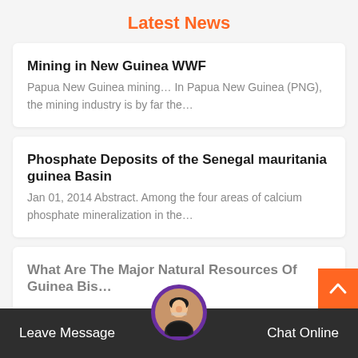Latest News
Mining in New Guinea WWF
Papua New Guinea mining… In Papua New Guinea (PNG), the mining industry is by far the…
Phosphate Deposits of the Senegal mauritania guinea Basin
Jan 01, 2014 Abstract. Among the four areas of calcium phosphate mineralization in the…
What Are The Major Natural Resources Of Guinea Bis…
Leave Message
Chat Online